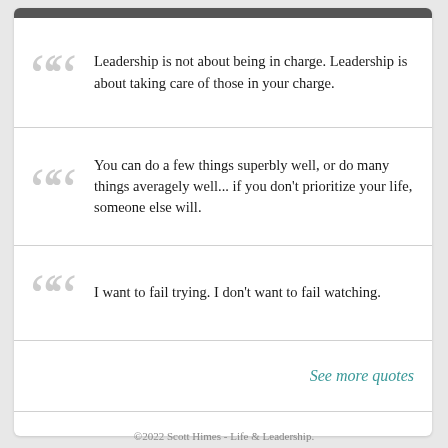Leadership is not about being in charge. Leadership is about taking care of those in your charge.
You can do a few things superbly well, or do many things averagely well... if you don't prioritize your life, someone else will.
I want to fail trying. I don't want to fail watching.
See more quotes
©2022 Scott Himes - Life & Leadership.